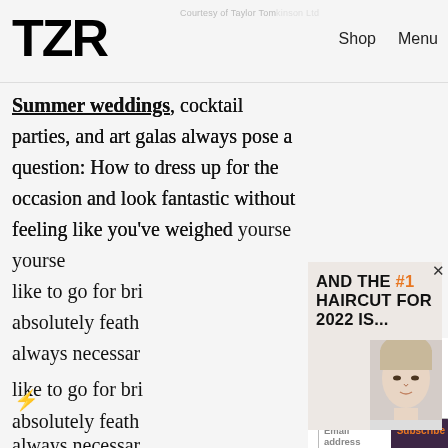TZR   Courtesy of Taylor Tomlinson Ltd   Shop   Menu
Summer weddings, cocktail parties, and art galas always pose a question: How to dress up for the occasion and look fantastic without feeling like you've weighed yourself down with yards of fabric? Many like to go for bri... absolutely feath... always necessar...
[Figure (photo): Popup advertisement overlay with text 'AND THE #1 HAIRCUT FOR 2022 IS...' in large bold uppercase font with #1 highlighted in orange, and a photo of a blonde woman's face in bottom right corner. A close (x) button is in the top right.]
Join The List
Sign up for TZR's exclusive email list to uncover this season's top trends
Email address   Subscribe